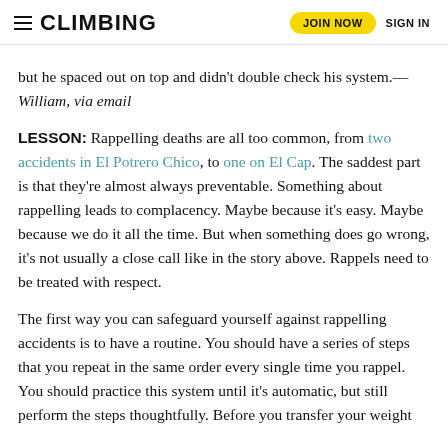CLIMBING | JOIN NOW | SIGN IN
but he spaced out on top and didn't double check his system.—William, via email
LESSON: Rappelling deaths are all too common, from two accidents in El Potrero Chico, to one on El Cap. The saddest part is that they're almost always preventable. Something about rappelling leads to complacency. Maybe because it's easy. Maybe because we do it all the time. But when something does go wrong, it's not usually a close call like in the story above. Rappels need to be treated with respect.
The first way you can safeguard yourself against rappelling accidents is to have a routine. You should have a series of steps that you repeat in the same order every single time you rappel. You should practice this system until it's automatic, but still perform the steps thoughtfully. Before you transfer your weight